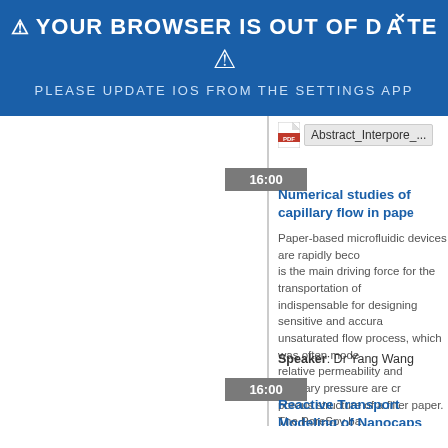[Figure (screenshot): Browser out-of-date warning banner with blue background. Text reads: '⚠ YOUR BROWSER IS OUT OF DATE ⚠ / PLEASE UPDATE IOS FROM THE SETTINGS APP']
[Figure (screenshot): PDF attachment icon labeled 'Abstract_Interpore_...']
16:00
Numerical studies of capillary flow in pape...
Paper-based microfluidic devices are rapidly beco... is the main driving force for the transportation of... indispensable for designing sensitive and accura... unsaturated flow process, which was often mode... relative permeability and capillary pressure are cr... porous structure of a filter paper. The PoreSpy ba... model (QPNM) is used to obtain the capillary pre... experiments. Combining imaging technique and... based microfluidic devices, which will guide us to...
Speaker: Dr Yang Wang
16:00
Reactive Transport Modeling of Nanocaps... Control